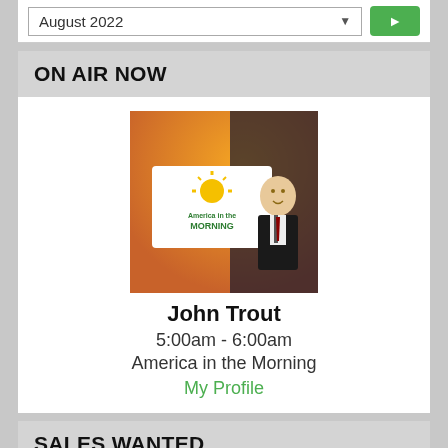August 2022
ON AIR NOW
[Figure (photo): Photo of John Trout with America in the Morning show logo]
John Trout
5:00am - 6:00am
America in the Morning
My Profile
SALES WANTED
[Figure (illustration): Five lightbulb icons on a yellow/gold background]